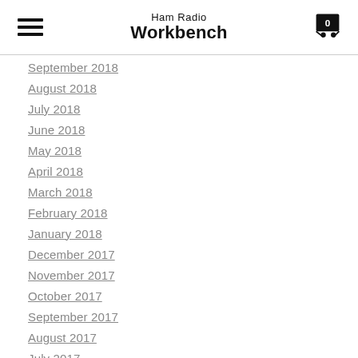Ham Radio Workbench
September 2018
August 2018
July 2018
June 2018
May 2018
April 2018
March 2018
February 2018
January 2018
December 2017
November 2017
October 2017
September 2017
August 2017
July 2017
June 2017
May 2017
April 2017
March 2017